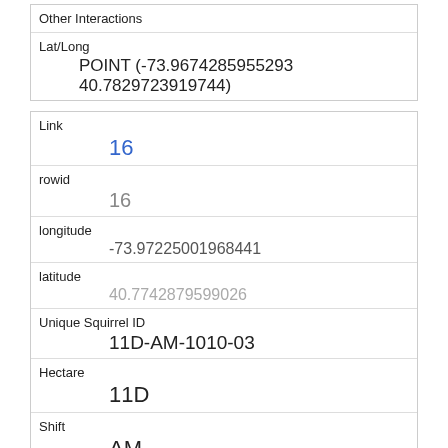| Other Interactions |  |
| Lat/Long | POINT (-73.9674285955293 40.7829723919744) |
| Link | 16 |
| rowid | 16 |
| longitude | -73.97225001968441 |
| latitude | 40.7742879599026 |
| Unique Squirrel ID | 11D-AM-1010-03 |
| Hectare | 11D |
| Shift | AM |
| Date | 10102018 |